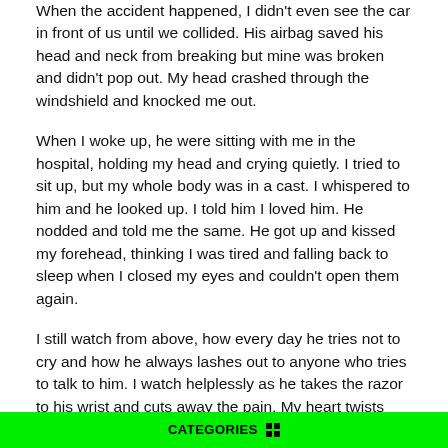When the accident happened, I didn't even see the car in front of us until we collided. His airbag saved his head and neck from breaking but mine was broken and didn't pop out. My head crashed through the windshield and knocked me out.
When I woke up, he were sitting with me in the hospital, holding my head and crying quietly. I tried to sit up, but my whole body was in a cast. I whispered to him and he looked up. I told him I loved him. He nodded and told me the same. He got up and kissed my forehead, thinking I was tired and falling back to sleep when I closed my eyes and couldn't open them again.
I still watch from above, how every day he tries not to cry and how he always lashes out to anyone who tries to talk to him. I watch helplessly as he takes the razor to his wrist and cuts away the pain. My heart twists when I want to be back there and comfort him and tell him to stop and that I still love him.
CATEGORIES